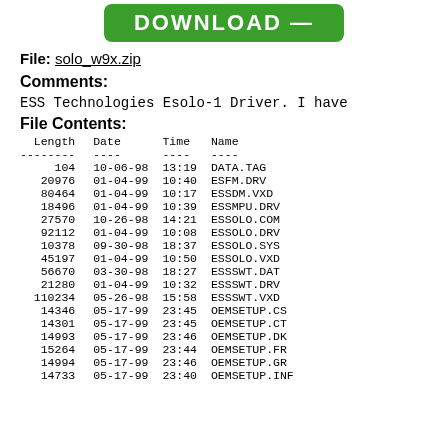[Figure (other): Green download button with 'DOWNLOAD' text]
File: solo_w9x.zip
Comments:
ESS Technologies Esolo-1 Driver. I have
File Contents:
| Length | Date | Time | Name |
| --- | --- | --- | --- |
| -------- | ---- | ---- | ---- |
| 104 | 10-06-98 | 13:19 | DATA.TAG |
| 20976 | 01-04-99 | 10:40 | ESFM.DRV |
| 80464 | 01-04-99 | 10:17 | ESSDM.VXD |
| 18496 | 01-04-99 | 10:39 | ESSMPU.DRV |
| 27570 | 10-26-98 | 14:21 | ESSOLO.COM |
| 92112 | 01-04-99 | 10:08 | ESSOLO.DRV |
| 10378 | 09-30-98 | 18:37 | ESSOLO.SYS |
| 45197 | 01-04-99 | 10:50 | ESSOLO.VXD |
| 56670 | 03-30-98 | 18:27 | ESSSWT.DAT |
| 21280 | 01-04-99 | 10:32 | ESSSWT.DRV |
| 110234 | 05-26-98 | 15:58 | ESSSWT.VXD |
| 14346 | 05-17-99 | 23:45 | OEMSETUP.CS |
| 14301 | 05-17-99 | 23:45 | OEMSETUP.CT |
| 14993 | 05-17-99 | 23:46 | OEMSETUP.DK |
| 15264 | 05-17-99 | 23:44 | OEMSETUP.FR |
| 14994 | 05-17-99 | 23:46 | OEMSETUP.GR |
| 14733 | 05-17-99 | 23:40 | OEMSETUP.INF |